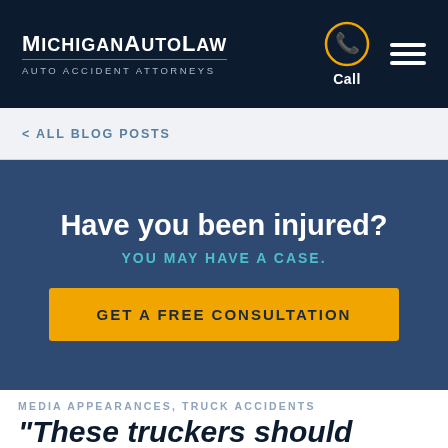[Figure (logo): MichiganAutoLaw logo — white text on dark navy background with tagline AUTO ACCIDENT ATTORNEYS, phone call icon in gold circle, and hamburger menu icon]
< ALL BLOG POSTS
Have you been injured? YOU MAY HAVE A CASE. GET A FREE CONSULTATION
MEDIA APPEARANCES, TRUCK ACCIDENTS
“These truckers should